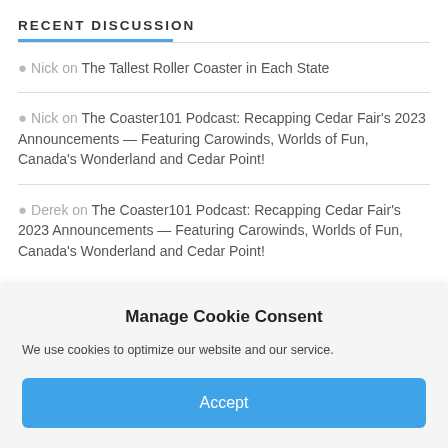RECENT DISCUSSION
Nick on The Tallest Roller Coaster in Each State
Nick on The Coaster101 Podcast: Recapping Cedar Fair's 2023 Announcements — Featuring Carowinds, Worlds of Fun, Canada's Wonderland and Cedar Point!
Derek on The Coaster101 Podcast: Recapping Cedar Fair's 2023 Announcements — Featuring Carowinds, Worlds of Fun, Canada's Wonderland and Cedar Point!
Manage Cookie Consent
We use cookies to optimize our website and our service.
Accept